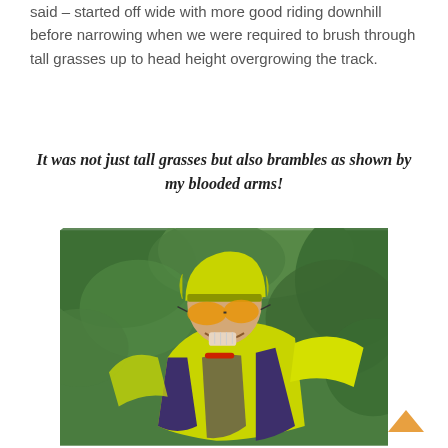said – started off wide with more good riding downhill before narrowing when we were required to brush through tall grasses up to head height overgrowing the track.
It was not just tall grasses but also brambles as shown by my blooded arms!
[Figure (photo): An elderly male cyclist wearing a bright yellow/green cycling jersey and helmet with orange-tinted sunglasses, smiling, with green foliage in the background.]